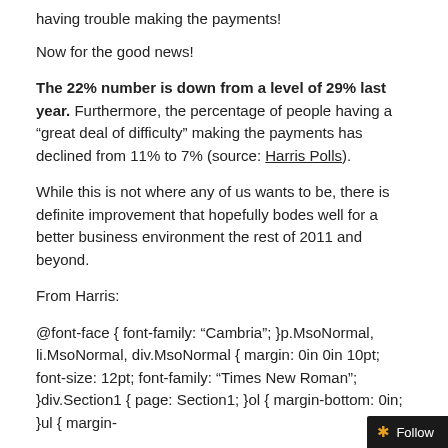having trouble making the payments!
Now for the good news!
The 22% number is down from a level of 29% last year. Furthermore, the percentage of people having a “great deal of difficulty” making the payments has declined from 11% to 7% (source: Harris Polls).
While this is not where any of us wants to be, there is definite improvement that hopefully bodes well for a better business environment the rest of 2011 and beyond.
From Harris:
@font-face { font-family: “Cambria”; }p.MsoNormal, li.MsoNormal, div.MsoNormal { margin: 0in 0in 10pt; font-size: 12pt; font-family: “Times New Roman”; }div.Section1 { page: Section1; }ol { margin-bottom: 0in; }ul { margin-